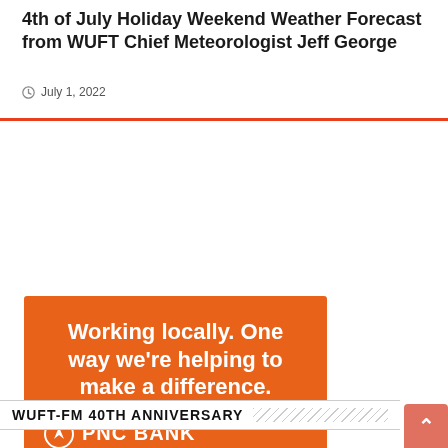4th of July Holiday Weekend Weather Forecast from WUFT Chief Meteorologist Jeff George
July 1, 2022
[Figure (illustration): PNC Bank advertisement on orange background. Text reads: 'Working locally. One way we're helping to make a difference.' PNC Bank logo with icon. 'LEARN MORE' button. Footnote: '©2021 PNC Bank, National Association. Member FDIC']
WUFT-FM 40TH ANNIVERSARY